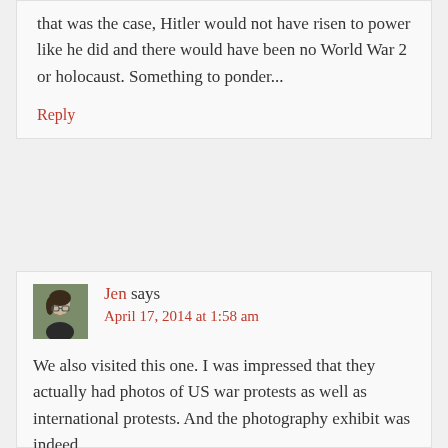that was the case, Hitler would not have risen to power like he did and there would have been no World War 2 or holocaust. Something to ponder...
Reply
Jen says
April 17, 2014 at 1:58 am
We also visited this one. I was impressed that they actually had photos of US war protests as well as international protests. And the photography exhibit was indeed